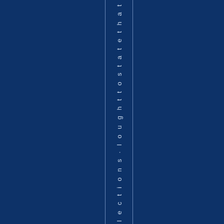[Figure (other): Dark navy blue page with two thin vertical lines and rotated vertical text reading 'dilections · lought to state that l a' (partial text visible), styled as a book spine or cover element]